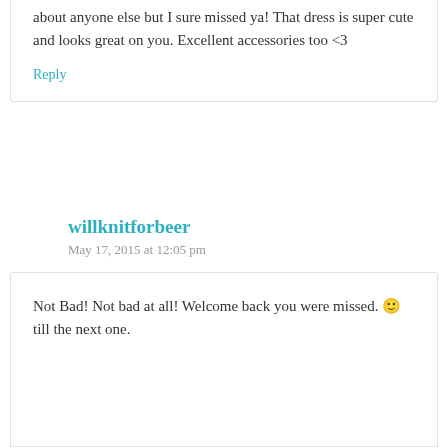about anyone else but I sure missed ya! That dress is super cute and looks great on you. Excellent accessories too <3
Reply
willknitforbeer
May 17, 2015 at 12:05 pm
Not Bad! Not bad at all! Welcome back you were missed. 🙂
till the next one.